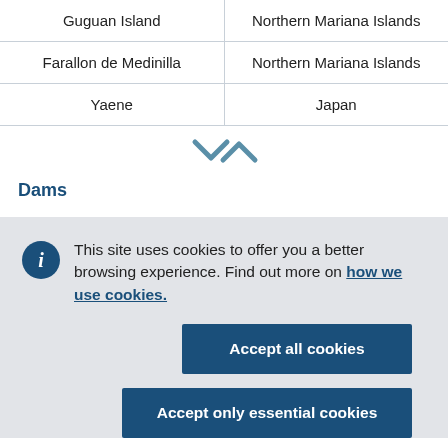| Island/Place | Location |
| --- | --- |
| Guguan Island | Northern Mariana Islands |
| Farallon de Medinilla | Northern Mariana Islands |
| Yaene | Japan |
Dams
This site uses cookies to offer you a better browsing experience. Find out more on how we use cookies.
Accept all cookies
Accept only essential cookies